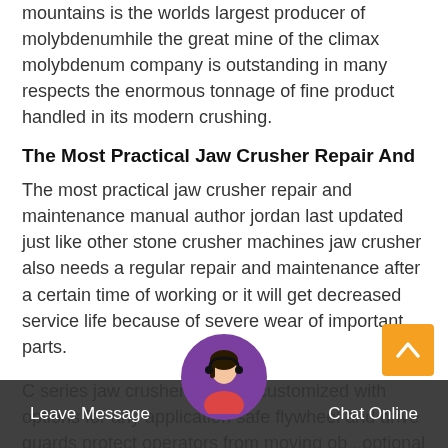mountains is the worlds largest producer of molybdenumhile the great mine of the climax molybdenum company is outstanding in many respects the enormous tonnage of fine product handled in its modern crushing.
The Most Practical Jaw Crusher Repair And
The most practical jaw crusher repair and maintenance manual author jordan last updated just like other stone crusher machines jaw crusher also needs a regular repair and maintenance after a certain time of working or it will get decreased service life because of severe wear of important parts.
C series jaw crushers can be customized with options for any application safe flywheel and drive guards protect operators from moving ob...optional integrated motor base allows installation of the crusher drive motor directly to
Leave Message   Chat Online